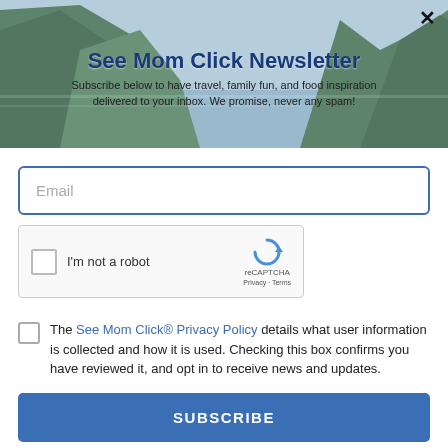[Figure (photo): Tropical landscape hero banner with green mountains and water in the background, with a dark close button (×) in the top right corner]
See Mom Click Newsletter
Subscribe below to have travel, family fun, and food inspiration delivered to your inbox. We promise, never any spam!
[Figure (screenshot): Email input field with placeholder text 'Email' and blue border]
[Figure (screenshot): reCAPTCHA widget with checkbox, 'I'm not a robot' label, and reCAPTCHA logo with Privacy · Terms links]
The See Mom Click® Privacy Policy details what user information is collected and how it is used. Checking this box confirms you have reviewed it, and opt in to receive news and updates.
SUBSCRIBE